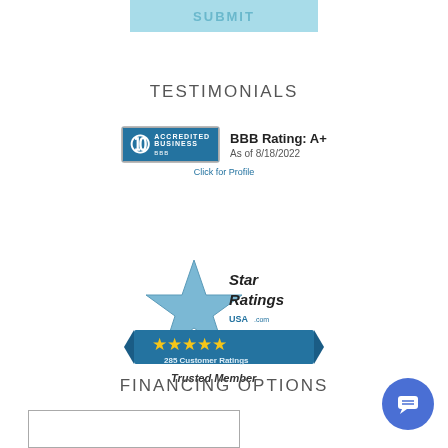SUBMIT
TESTIMONIALS
[Figure (logo): BBB Accredited Business badge showing BBB Rating: A+ as of 8/18/2022. Click for Profile.]
[Figure (logo): Star Ratings USA.com — 285 Customer Ratings — Trusted Member badge with 5 gold stars]
FINANCING OPTIONS
[Figure (other): Empty financing options box/form area]